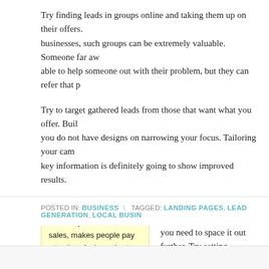Try finding leads in groups online and taking them up on their offers. businesses, such groups can be extremely valuable. Someone far aw able to help someone out with their problem, but they can refer that p
Try to target gathered leads from those that want what you offer. Buil you do not have designs on narrowing your focus. Tailoring your cam key information is definitely going to show improved results.
TIP! Providing incentives, such as promotions and sales, makes people pay attention. An incentive to purchase something can separate your company from the rest.
Create a schedule surrounding lead gener you need to space it out further. Try setting professional. You can also save time by no
Take what you've just learned and start ge quickly. Delaying can hurt your chances of
POSTED IN: BUSINESS \ TAGGED: LANDING PAGES, LEAD GENERATION, LOCAL BUSIN